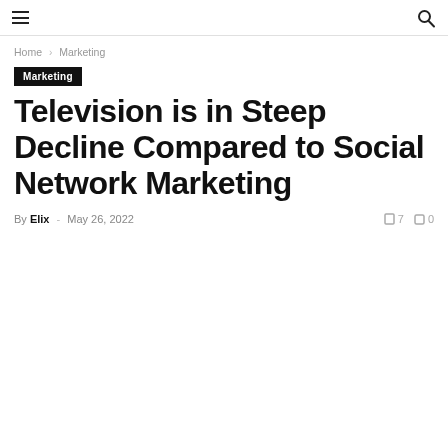[ hamburger icon ]  [ search icon ]
Home › Marketing
Marketing
Television is in Steep Decline Compared to Social Network Marketing
By Elix - May 26, 2022   [ 7   [ 0